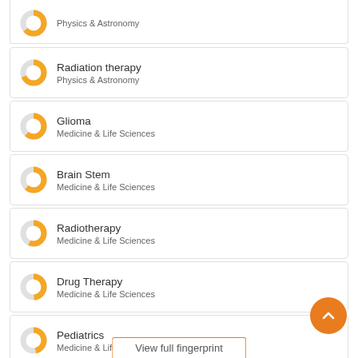Physics & Astronomy (partial, top clipped)
Radiation therapy
Physics & Astronomy
Glioma
Medicine & Life Sciences
Brain Stem
Medicine & Life Sciences
Radiotherapy
Medicine & Life Sciences
Drug Therapy
Medicine & Life Sciences
Pediatrics
Medicine & Life Sciences
View full fingerprint